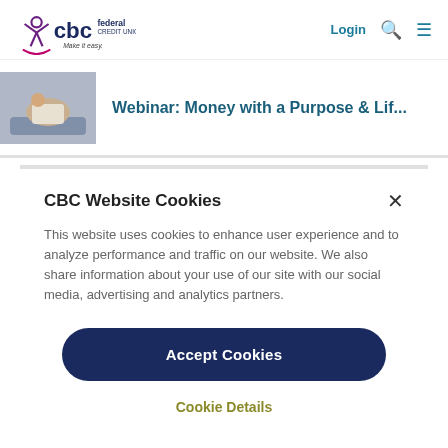[Figure (logo): CBC Federal Credit Union logo with tagline 'Make it easy.']
Login
Webinar: Money with a Purpose & Lif...
CBC Website Cookies
This website uses cookies to enhance user experience and to analyze performance and traffic on our website. We also share information about your use of our site with our social media, advertising and analytics partners.
Accept Cookies
Cookie Details